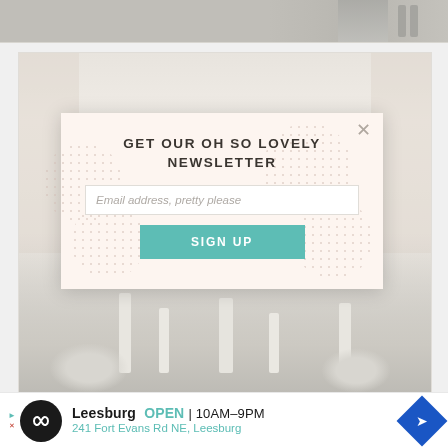[Figure (photo): Top portion of a food/restaurant photo showing what appears to be silverware/cutlery on a table, partially visible at top of page]
[Figure (photo): Wedding reception venue photo showing elegant table settings with white candles, crystal centerpieces, and white floral arrangements in a bright, soft-lit room. A newsletter signup modal overlay is displayed in the center.]
GET OUR OH SO LOVELY NEWSLETTER
Email address, pretty please
SIGN UP
[Figure (infographic): Advertisement banner for a local business showing Leesburg location with OPEN hours 10AM-9PM, address 241 Fort Evans Rd NE, Leesburg. Features a circular logo with infinity symbol and a blue diamond navigation icon.]
Leesburg  OPEN | 10AM–9PM
241 Fort Evans Rd NE, Leesburg